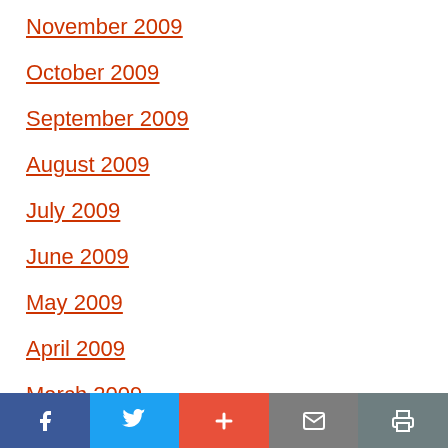November 2009
October 2009
September 2009
August 2009
July 2009
June 2009
May 2009
April 2009
March 2009
Social share bar with Facebook, Twitter, Plus, Email, Print buttons